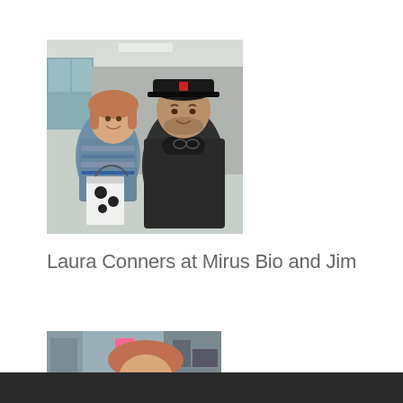[Figure (photo): Two people standing together indoors in an office setting. A woman on the left wearing a patterned sweater and holding a gift bag, and a taller man on the right wearing a dark cap and dark jacket.]
Laura Conners at Mirus Bio and Jim
[Figure (photo): Partial photo showing a person at what appears to be a desk or office environment, cropped at the bottom of the page.]